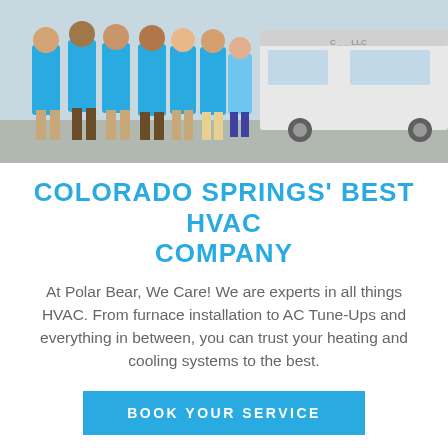[Figure (photo): Group of employees in blue t-shirts standing in a line in front of a white company van, outdoor setting, sunny day.]
COLORADO SPRINGS' BEST HVAC COMPANY
At Polar Bear, We Care! We are experts in all things HVAC. From furnace installation to AC Tune-Ups and everything in between, you can trust your heating and cooling systems to the best.
BOOK YOUR SERVICE